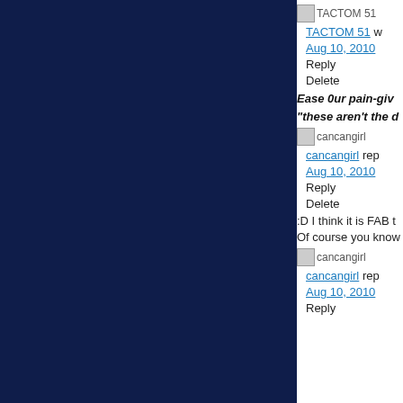[Figure (other): TACTOM 51 avatar image (small thumbnail)]
TACTOM 51 w...
Aug 10, 2010...
Reply
Delete
Ease 0ur pain-giv...
"these aren't the d...
[Figure (other): cancangirl avatar image (small thumbnail)]
cancangirl rep...
Aug 10, 2010...
Reply
Delete
:D I think it is FAB t...
Of course you know...
[Figure (other): cancangirl avatar image (small thumbnail)]
cancangirl rep...
Aug 10, 2010...
Reply